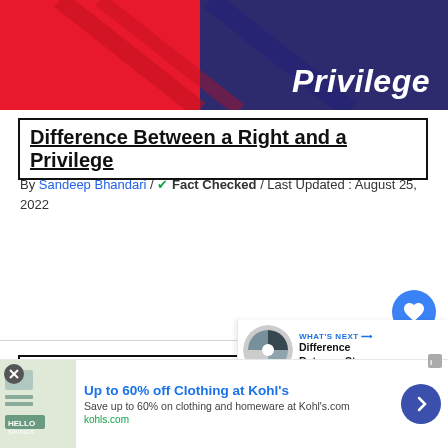[Figure (illustration): Website banner with red and dark blue diagonal gradient background with 'Privilege' text in white italic bold on the right side]
Difference Between a Right and a Privilege
By Sandeep Bhandari / ✔ Fact Checked / Last Updated : August 25, 2022
About The Author
[Figure (screenshot): WHAT'S NEXT panel showing a circular image and 'Difference Between Sta...' text]
[Figure (screenshot): Advertisement for Kohl's: Up to 60% off Clothing at Kohl's. Save up to 60% on clothing and homeware at Kohl's.com. kohls.com]